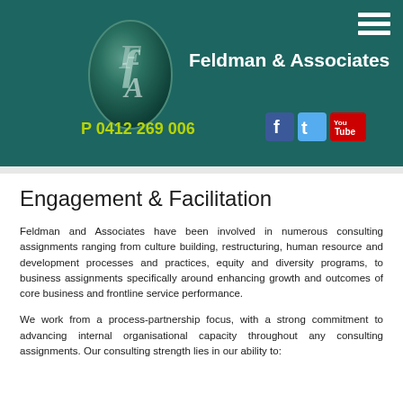[Figure (logo): Feldman & Associates header banner with oval logo containing stylized FA monogram, company name, phone number P 0412 269 006, and social media icons for Facebook, Twitter, and YouTube]
Engagement & Facilitation
Feldman and Associates have been involved in numerous consulting assignments ranging from culture building, restructuring, human resource and development processes and practices, equity and diversity programs, to business assignments specifically around enhancing growth and outcomes of core business and frontline service performance.
We work from a process-partnership focus, with a strong commitment to advancing internal organisational capacity throughout any consulting assignments. Our consulting strength lies in our ability to: